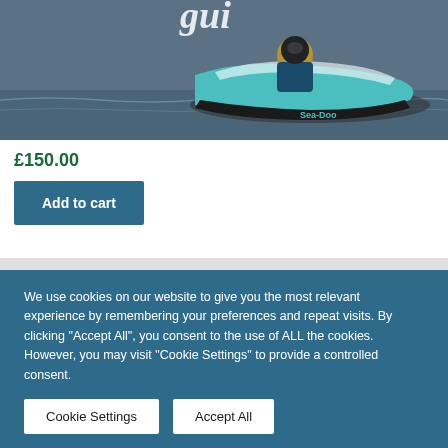[Figure (photo): Partial view of a person riding a jet ski on water, with a teal/turquoise Sea-Doo watercraft visible. The image is cropped showing the top portion. Decorative script text partially visible at top.]
£150.00
Add to cart
We use cookies on our website to give you the most relevant experience by remembering your preferences and repeat visits. By clicking "Accept All", you consent to the use of ALL the cookies. However, you may visit "Cookie Settings" to provide a controlled consent.
Cookie Settings
Accept All